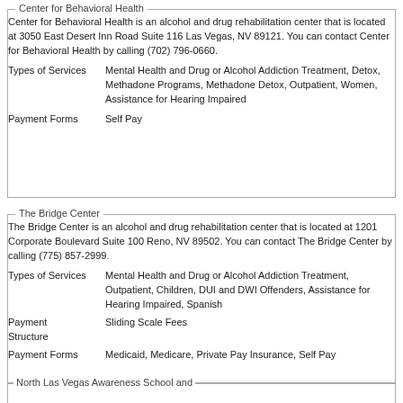Center for Behavioral Health
Center for Behavioral Health is an alcohol and drug rehabilitation center that is located at 3050 East Desert Inn Road Suite 116 Las Vegas, NV 89121. You can contact Center for Behavioral Health by calling (702) 796-0660.
| Types of Services | Mental Health and Drug or Alcohol Addiction Treatment, Detox, Methadone Programs, Methadone Detox, Outpatient, Women, Assistance for Hearing Impaired |
| Payment Forms | Self Pay |
The Bridge Center
The Bridge Center is an alcohol and drug rehabilitation center that is located at 1201 Corporate Boulevard Suite 100 Reno, NV 89502. You can contact The Bridge Center by calling (775) 857-2999.
| Types of Services | Mental Health and Drug or Alcohol Addiction Treatment, Outpatient, Children, DUI and DWI Offenders, Assistance for Hearing Impaired, Spanish |
| Payment Structure | Sliding Scale Fees |
| Payment Forms | Medicaid, Medicare, Private Pay Insurance, Self Pay |
North Las Vegas Awareness School and